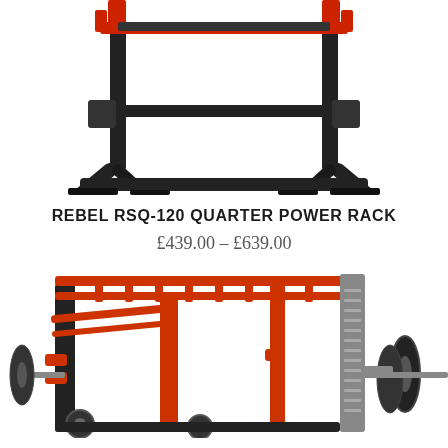[Figure (photo): A black and red Rebel RSQ-120 Quarter Power Rack gym equipment shown from the front/top angle on a white background. The rack has black steel frame and red horizontal bar holders at the top.]
REBEL RSQ-120 QUARTER POWER RACK
£439.00 – £639.00
[Figure (photo): A red and black full power rack / squat rack gym equipment with monkey bars on top, weight plates on the side, wheels, and barbell attachments, shown at an angle on a white background.]